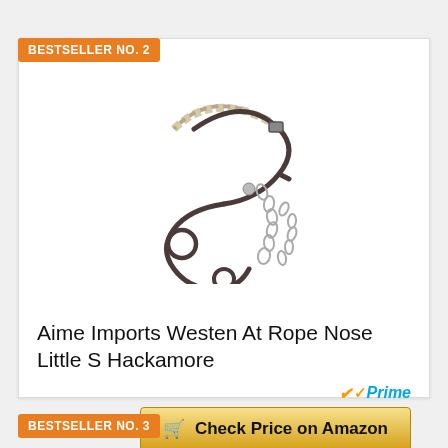BESTSELLER NO. 2
[Figure (photo): Product photo of Aime Imports Westen At Rope Nose Little S Hackamore horse bit with rope noseband and chain]
Aime Imports Westen At Rope Nose Little S Hackamore
Prime
Check Price on Amazon
BESTSELLER NO. 3